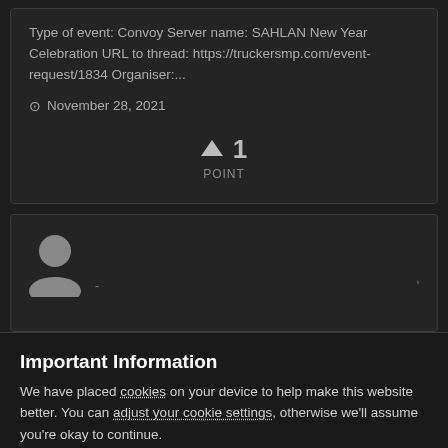Type of event: Convoy Server name: SAHLAN New Year Celebration URL to thread: https://truckersmp.com/event-request/1834 Organiser:...
November 28, 2021
↑ 1
POINT
[Figure (illustration): User avatar placeholder — grey circle head and shoulders silhouette on dark background]
Important Information
We have placed cookies on your device to help make this website better. You can adjust your cookie settings, otherwise we'll assume you're okay to continue.
✓  I accept